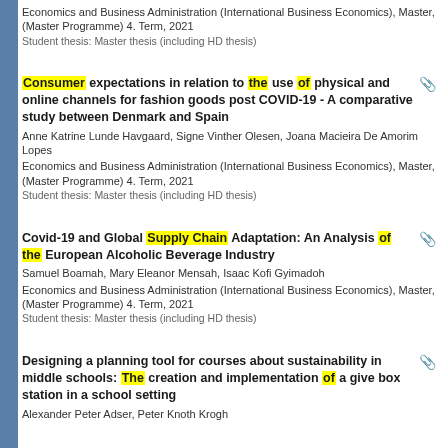Economics and Business Administration (International Business Economics), Master, (Master Programme) 4. Term, 2021
Student thesis: Master thesis (including HD thesis)
Consumer expectations in relation to the use of physical and online channels for fashion goods post COVID-19 - A comparative study between Denmark and Spain
Anne Katrine Lunde Havgaard, Signe Vinther Olesen, Joana Macieira De Amorim Lopes
Economics and Business Administration (International Business Economics), Master, (Master Programme) 4. Term, 2021
Student thesis: Master thesis (including HD thesis)
Covid-19 and Global Supply Chain Adaptation: An Analysis of the European Alcoholic Beverage Industry
Samuel Boamah, Mary Eleanor Mensah, Isaac Kofi Gyimadoh
Economics and Business Administration (International Business Economics), Master, (Master Programme) 4. Term, 2021
Student thesis: Master thesis (including HD thesis)
Designing a planning tool for courses about sustainability in middle schools: The creation and implementation of a give box station in a school setting
Alexander Peter Adser, Peter Knoth Krogh